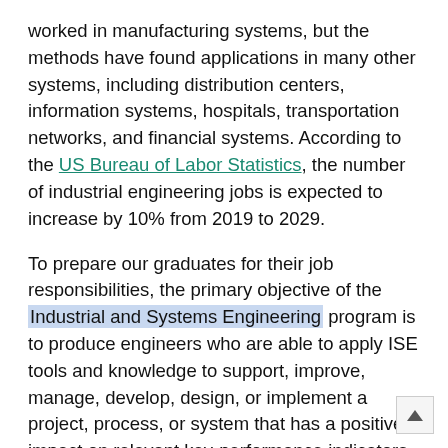worked in manufacturing systems, but the methods have found applications in many other systems, including distribution centers, information systems, hospitals, transportation networks, and financial systems. According to the US Bureau of Labor Statistics, the number of industrial engineering jobs is expected to increase by 10% from 2019 to 2029.
To prepare our graduates for their job responsibilities, the primary objective of the Industrial and Systems Engineering program is to produce engineers who are able to apply ISE tools and knowledge to support, improve, manage, develop, design, or implement a project, process, or system that has a positive impact on relevant key-performance indicators, such as financial results, productivity, quality or safety. We want our graduates